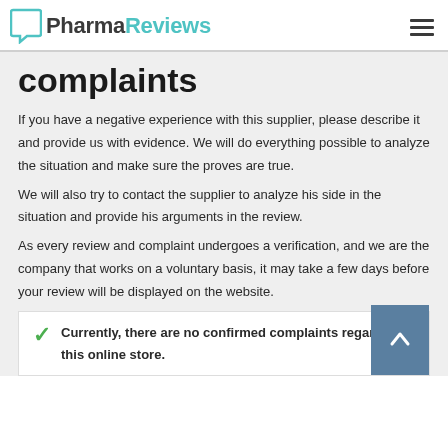PharmaReviews
complaints
If you have a negative experience with this supplier, please describe it and provide us with evidence. We will do everything possible to analyze the situation and make sure the proves are true.
We will also try to contact the supplier to analyze his side in the situation and provide his arguments in the review.
As every review and complaint undergoes a verification, and we are the company that works on a voluntary basis, it may take a few days before your review will be displayed on the website.
Currently, there are no confirmed complaints regarding this online store.